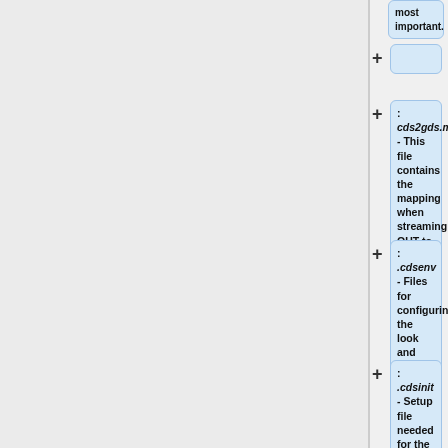: <em>cds2gds.map</em> - This file contains the mapping when streaming OUT to a gds file.
(empty node)
: <em>.cdsenv</em> - Files for configuring the look and feel of virtuoso
: <em>.cdsinit</em> - Setup file needed for the PDK
:<em>cds.lib</em> - File that contains all of the libraries